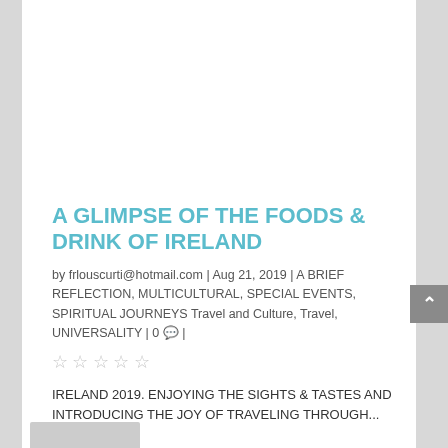[Figure (photo): Photograph of an Irish castle tower on green coastal cliffs with the Atlantic ocean and blue sky with clouds in the background. The round stone tower has crenellations at the top.]
A GLIMPSE OF THE FOODS & DRINK OF IRELAND
by frlouscurti@hotmail.com | Aug 21, 2019 | A BRIEF REFLECTION, MULTICULTURAL, SPECIAL EVENTS, SPIRITUAL JOURNEYS Travel and Culture, Travel, UNIVERSALITY | 0 💬 |
☆☆☆☆☆
IRELAND 2019. ENJOYING THE SIGHTS & TASTES AND INTRODUCING THE JOY OF TRAVELING THROUGH...